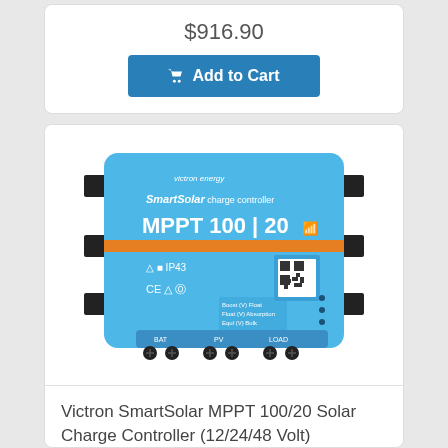$916.90
Add to Cart
[Figure (photo): Victron SmartSolar MPPT 100/20 Solar Charge Controller device, blue enclosure with orange stripe, viewed from top, showing terminals labeled BAT, PV, LOAD]
Victron SmartSolar MPPT 100/20 Solar Charge Controller (12/24/48 Volt)